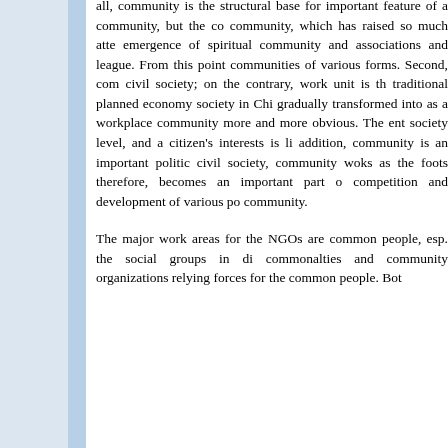all, community is the structural base for important feature of a community, but the community, which has raised so much attention, emergence of spiritual community and associations and league. From this point, communities of various forms. Second, community is not civil society; on the contrary, work unit is the traditional planned economy society in China, gradually transformed into as a workplace community more and more obvious. The entire society level, and a citizen's interests is linked. In addition, community is an important political arena; in civil society, community woks as the footstone, therefore, becomes an important part of competition and development of various political community.
The major work areas for the NGOs are common people, esp. the social groups in disadvantaged commonalties and community organizations are relying forces for the common people. Both